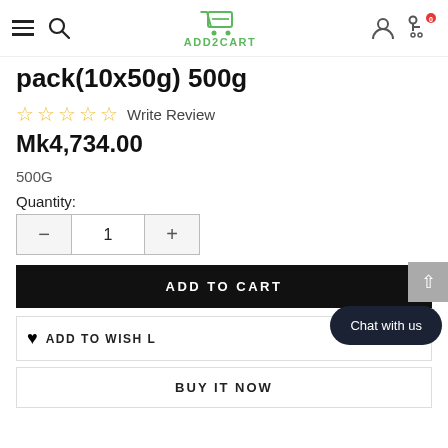ADD2CART
pack(10x50g) 500g
☆ ☆ ☆ ☆ ☆ Write Review
Mk4,734.00
500G
Quantity:
1
ADD TO CART
ADD TO WISH LIST
Chat with us
BUY IT NOW